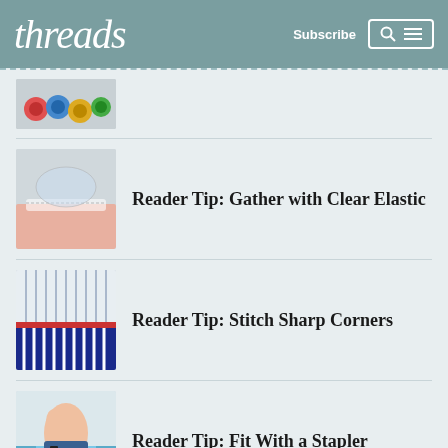threads   Subscribe
[Figure (photo): Thumbnail showing colorful thread spools (partially visible at top)]
[Figure (photo): Thumbnail showing clear elastic gathered fabric]
Reader Tip: Gather with Clear Elastic
[Figure (photo): Thumbnail showing striped fabric with sharp corners]
Reader Tip: Stitch Sharp Corners
[Figure (illustration): Thumbnail showing a hand using a stapler on fabric]
Reader Tip: Fit With a Stapler
Thread Tension | Reader Tip